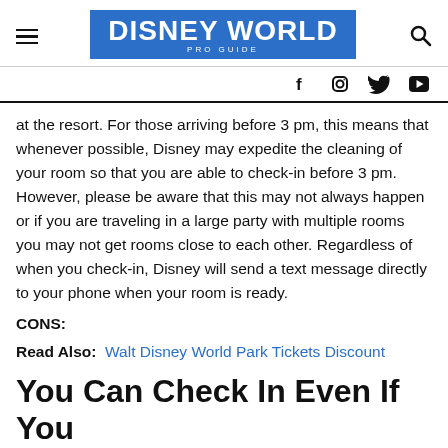DISNEY WORLD PRO GUIDE
at the resort. For those arriving before 3 pm, this means that whenever possible, Disney may expedite the cleaning of your room so that you are able to check-in before 3 pm. However, please be aware that this may not always happen or if you are traveling in a large party with multiple rooms you may not get rooms close to each other. Regardless of when you check-in, Disney will send a text message directly to your phone when your room is ready.
CONS:
Read Also: Walt Disney World Park Tickets Discount
You Can Check In Even If You